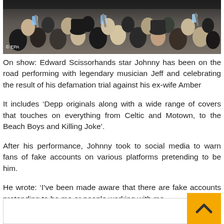[Figure (photo): A large crowd of people viewed from behind, many holding up phones, at an outdoor event. EPA watermark in bottom left corner.]
On show: Edward Scissorhands star Johnny has been on the road performing with legendary musician Jeff and celebrating the result of his defamation trial against his ex-wife Amber
It includes ‘Depp originals along with a wide range of covers that touches on everything from Celtic and Motown, to the Beach Boys and Killing Joke’.
After his performance, Johnny took to social media to warn fans of fake accounts on various platforms pretending to be him.
He wrote: ‘I’ve been made aware that there are fake accounts pretending to be me or people working with me.